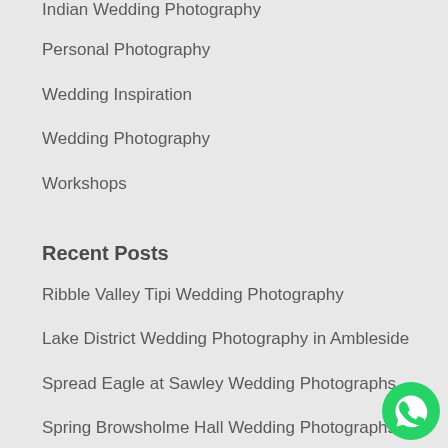Indian Wedding Photography
Personal Photography
Wedding Inspiration
Wedding Photography
Workshops
Recent Posts
Ribble Valley Tipi Wedding Photography
Lake District Wedding Photography in Ambleside
Spread Eagle at Sawley Wedding Photographs
Spring Browsholme Hall Wedding Photographs
Armathwaite Hall wedding photography
Fence Gate Lodge wedding photography
[Figure (illustration): WhatsApp contact button icon — green circle with white phone handset]